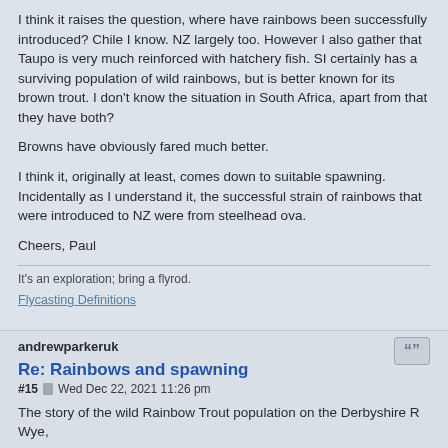I think it raises the question, where have rainbows been successfully introduced? Chile I know. NZ largely too. However I also gather that Taupo is very much reinforced with hatchery fish. SI certainly has a surviving population of wild rainbows, but is better known for its brown trout. I don't know the situation in South Africa, apart from that they have both?
Browns have obviously fared much better.
I think it, originally at least, comes down to suitable spawning. Incidentally as I understand it, the successful strain of rainbows that were introduced to NZ were from steelhead ova.
Cheers, Paul
It's an exploration; bring a flyrod.
Flycasting Definitions
andrewparkeruk
Re: Rainbows and spawning
#15  Wed Dec 22, 2021 11:26 pm
The story of the wild Rainbow Trout population on the Derbyshire R Wye,